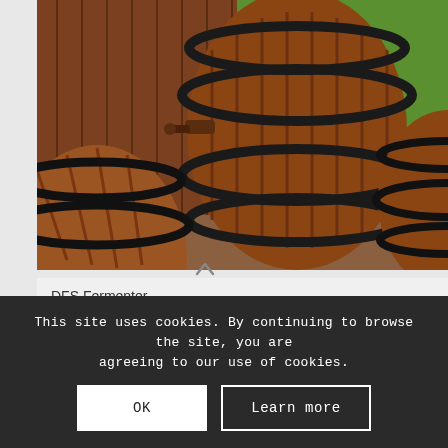[Figure (illustration): 3D rendered illustration of large wooden wine/beer barrels with dark metal hoops, stacked near a wooden fence with green fields visible in the background.]
DFS Fermenter
This site uses cookies. By continuing to browse the site, you are agreeing to our use of cookies.